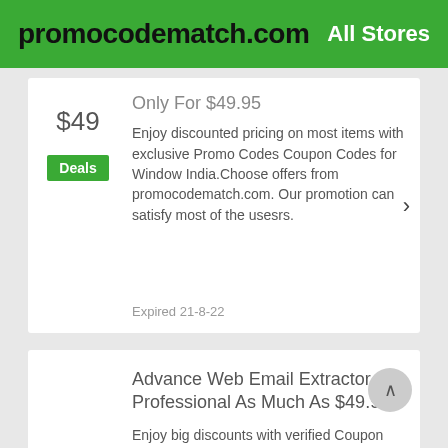promocodematch.com   All Stores
Only For $49.95
$49
Deals
Enjoy discounted pricing on most items with exclusive Promo Codes Coupon Codes for Window India.Choose offers from promocodematch.com. Our promotion can satisfy most of the usesrs.
Expired 21-8-22
Advance Web Email Extractor Professional As Much As $49.95
$49
Deals
Enjoy big discounts with verified Coupon Codes at Window India. Browse through sales in promocodematch.com. If you are